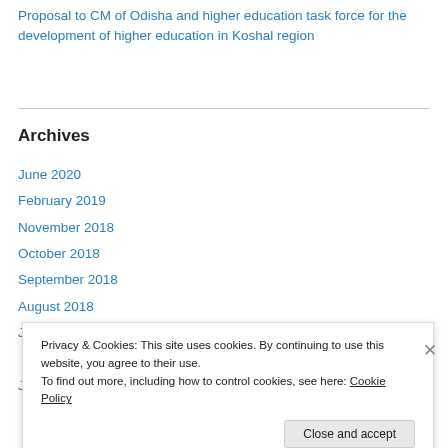Proposal to CM of Odisha and higher education task force for the development of higher education in Koshal region
Archives
June 2020
February 2019
November 2018
October 2018
September 2018
August 2018
July 2018
June 2018
Privacy & Cookies: This site uses cookies. By continuing to use this website, you agree to their use. To find out more, including how to control cookies, see here: Cookie Policy
Close and accept